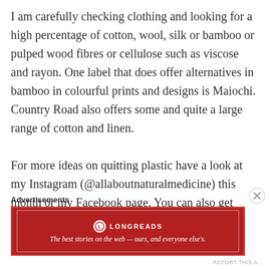I am carefully checking clothing and looking for a high percentage of cotton, wool, silk or bamboo or pulped wood fibres or cellulose such as viscose and rayon. One label that does offer alternatives in bamboo in colourful prints and designs is Maiochi. Country Road also offers some and quite a large range of cotton and linen.
For more ideas on quitting plastic have a look at my Instagram (@allaboutnaturalmedicine) this month or my Facebook page. You can also get
Advertisements
[Figure (other): Longreads advertisement banner in red with logo and tagline: The best stories on the web — ours, and everyone else's.]